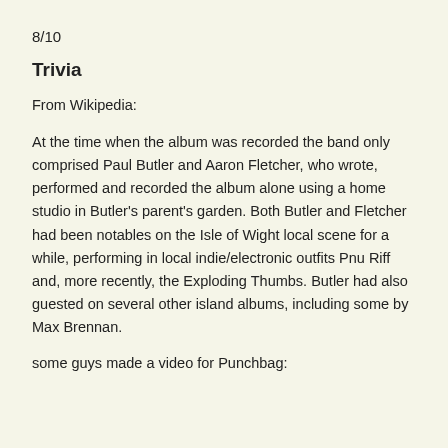8/10
Trivia
From Wikipedia:
At the time when the album was recorded the band only comprised Paul Butler and Aaron Fletcher, who wrote, performed and recorded the album alone using a home studio in Butler's parent's garden. Both Butler and Fletcher had been notables on the Isle of Wight local scene for a while, performing in local indie/electronic outfits Pnu Riff and, more recently, the Exploding Thumbs. Butler had also guested on several other island albums, including some by Max Brennan.
some guys made a video for Punchbag: